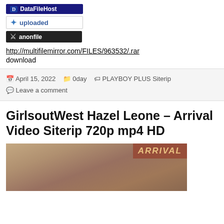[Figure (other): Three file hosting service badges: DataFileHost (dark blue), uploaded (white/grey), anonfile (dark/black)]
http://multifilemirror.com/FILES/963532/.rar download
April 15, 2022  0day  PLAYBOY PLUS Siterip  Leave a comment
GirlsoutWest Hazel Leone – Arrival Video Siterip 720p mp4 HD
[Figure (photo): Thumbnail image with overlay text ARRIVAL in italic orange/gold letters on dark red background]